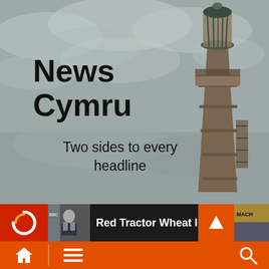[Figure (photo): Hero background showing a cloudy grey sky with an old rusted lighthouse/tower structure on the right side]
News Cymru
Two sides to every headline
Red Tractor Wheat Import Controversy
[Figure (screenshot): Mobile app navigation bar with orange background showing home, menu, and search icons]